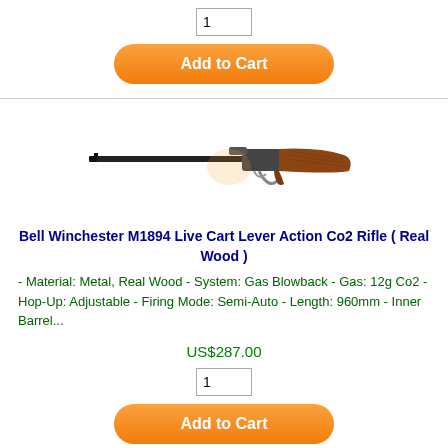1
Add to Cart
[Figure (photo): Bell Winchester M1894 lever action rifle with wooden stock, viewed from the side]
Bell Winchester M1894 Live Cart Lever Action Co2 Rifle ( Real Wood )
- Material: Metal, Real Wood - System: Gas Blowback - Gas: 12g Co2 - Hop-Up: Adjustable - Firing Mode: Semi-Auto - Length: 960mm - Inner Barrel...
US$287.00
1
Add to Cart